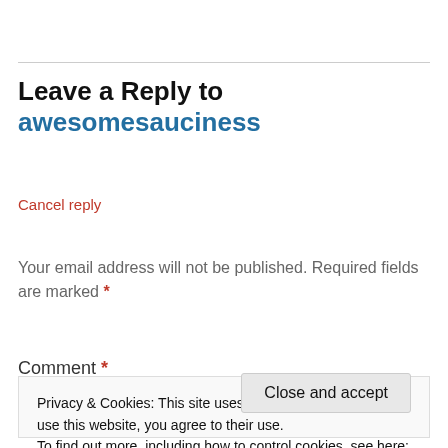Leave a Reply to awesomesauciness
Cancel reply
Your email address will not be published. Required fields are marked *
Comment *
Privacy & Cookies: This site uses cookies. By continuing to use this website, you agree to their use. To find out more, including how to control cookies, see here: Cookie Policy
Close and accept